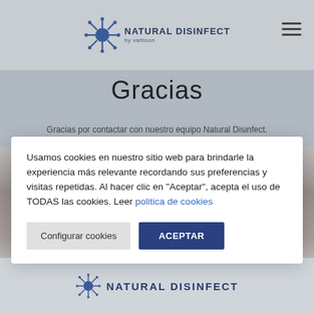[Figure (logo): Natural Disinfect by vathion logo with stylized molecule/virus icon in blue]
Gracias
Gracias por contactar con nuestro equipo Natural Disinfect.
[Figure (photo): Background photo of a person resting on a white pillow/mattress, partially visible]
Usamos cookies en nuestro sitio web para brindarle la experiencia más relevante recordando sus preferencias y visitas repetidas. Al hacer clic en "Aceptar", acepta el uso de TODAS las cookies. Leer politica de cookies
[Figure (logo): Natural Disinfect bottom logo with molecule icon in blue]